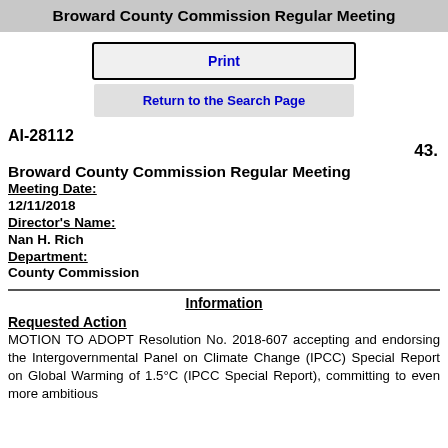Broward County Commission Regular Meeting
Print
Return to the Search Page
AI-28112
43.
Broward County Commission Regular Meeting
Meeting Date:
12/11/2018
Director's Name:
Nan H. Rich
Department:
County Commission
Information
Requested Action
MOTION TO ADOPT Resolution No. 2018-607 accepting and endorsing the Intergovernmental Panel on Climate Change (IPCC) Special Report on Global Warming of 1.5°C (IPCC Special Report), committing to even more ambitious targets and goals in its own resiliency and climate efforts,